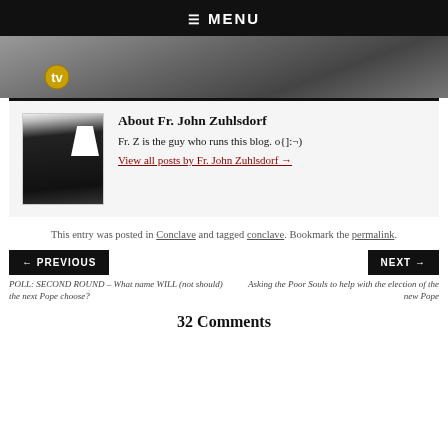☰ MENU
[Figure (photo): Hero image with dark/grey cobblestone background and a circular TV logo]
About Fr. John Zuhlsdorf
Fr. Z is the guy who runs this blog. o{]:¬)
View all posts by Fr. John Zuhlsdorf →
This entry was posted in Conclave and tagged conclave. Bookmark the permalink.
← PREVIOUS
NEXT →
POLL: SECOND ROUND – What name WILL (not should) the next Pope choose?
Asking the Poor Souls to help with the election of the new Pope
32 Comments